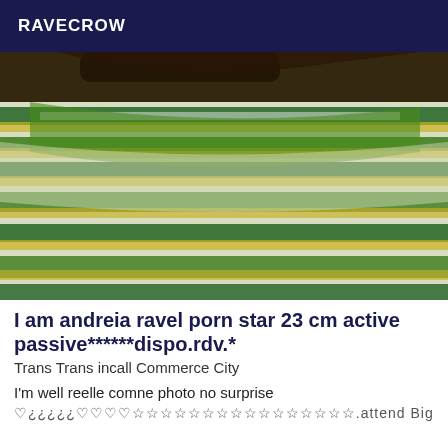RAVECROW
[Figure (photo): Close-up photo of green, yellow, white striped fabric or blanket with a dark edge visible at the top]
I am andreia ravel porn star 23 cm active passive******dispo.rdv.*
Trans Trans incall Commerce City
I'm well reelle comne photo no surprise
♡¿¿¿¿¿♡♡♡♡☆☆☆☆☆☆☆☆☆☆☆☆☆☆☆☆.attend Big